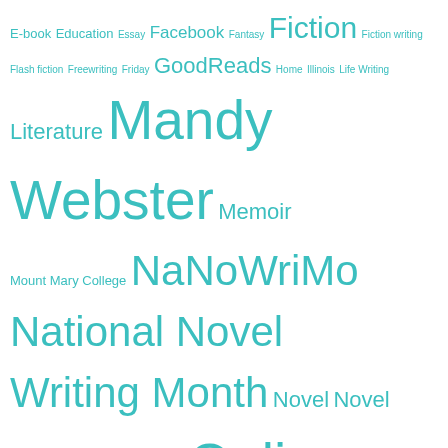[Figure (infographic): A tag cloud / word cloud of writing and literature related tags, displayed in varying font sizes in teal/cyan color on white background. Tags include: E-book, Education, Essay, Facebook, Fantasy, Fiction, Fiction writing, Flash fiction, Freewriting, Friday, GoodReads, Home, Illinois, Life Writing, Literature, Mandy Webster, Memoir, Mount Mary College, NaNoWriMo, National Novel Writing Month, Novel, Novel Writing, November, Online Writing, Pinterest, Poems by Mandy Webster, Poetry, Poetry Friday, Protagonist, Publishing, Reading, Reading (process), Romance novel, Shopping, Short story, Social media, Stephen King, Student, Thought, Twitter, United States, Valley of the Bees, VotB, Wednesday Writing Prompts, WIP, Wisconsin, Word, Word count, Wordpress, Writer, Writer's block, Writer Resources, Writers Resources, Writing, Writing Blog, Writing Exercises, Writing process, Writing Prompt, Writing Prompts]